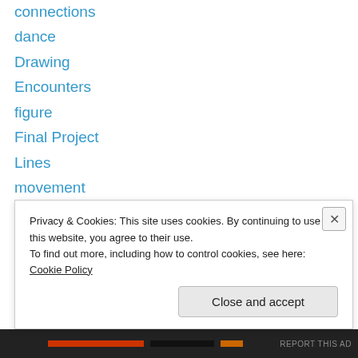connections
dance
Drawing
Encounters
figure
Final Project
Lines
movement
Narrative
Negative Space
Oral Wonder Tales
Painting
Photography
Printmaking
Privacy & Cookies: This site uses cookies. By continuing to use this website, you agree to their use. To find out more, including how to control cookies, see here: Cookie Policy
Close and accept